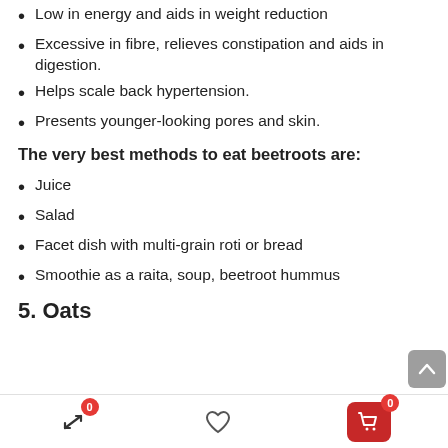Low in energy and aids in weight reduction
Excessive in fibre, relieves constipation and aids in digestion.
Helps scale back hypertension.
Presents younger-looking pores and skin.
The very best methods to eat beetroots are:
Juice
Salad
Facet dish with multi-grain roti or bread
Smoothie as a raita, soup, beetroot hummus
5. Oats